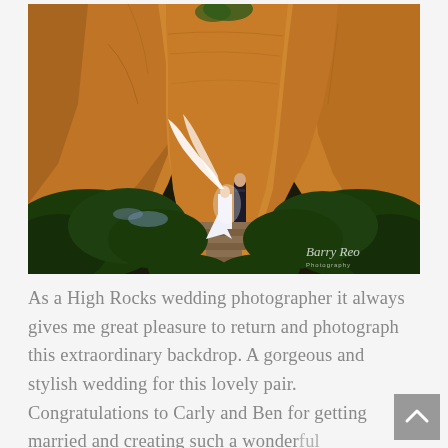[Figure (photo): Wedding photo at High Rocks. A couple stands on stone steps between dramatic golden/orange sandstone rock formations. The bride's long white veil billows in the wind. Lush dark green foliage surrounds the steps. A watermark reading 'Barry Reo Photography' appears in the lower right.]
As a High Rocks wedding photographer it always gives me great pleasure to return and photograph this extraordinary backdrop. A gorgeous and stylish wedding for this lovely pair. Congratulations to Carly and Ben for getting married and creating such a wonderful